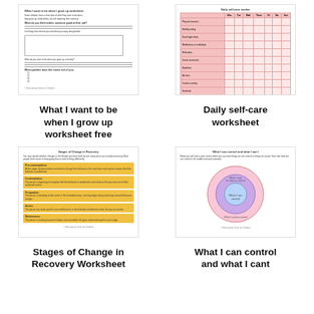[Figure (illustration): Thumbnail of 'What I want to be when I grow up worksheet free' — a worksheet with text lines, a box, and bullet items]
What I want to be when I grow up worksheet free
[Figure (illustration): Thumbnail of 'Daily self-care worksheet' — a pink table with rows and columns for daily tracking]
Daily self-care worksheet
[Figure (illustration): Thumbnail of 'Stages of Change in Recovery Worksheet' — yellow/gold horizontal bars with text]
Stages of Change in Recovery Worksheet
[Figure (illustration): Thumbnail of 'What I can control and what I cant' — concentric circles diagram in pink and purple]
What I can control and what I cant